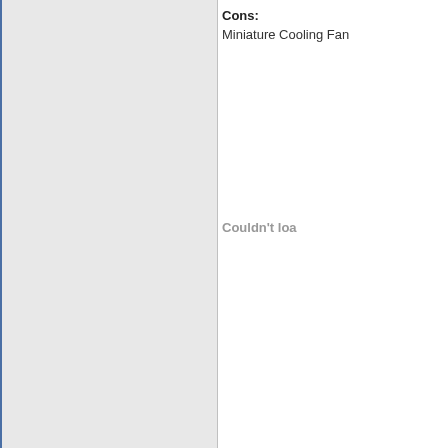[Figure (other): Left panel with grey background and blue left border — appears to be an image placeholder or sidebar panel]
Cons:
Miniature Cooling Fan
Couldn't loa